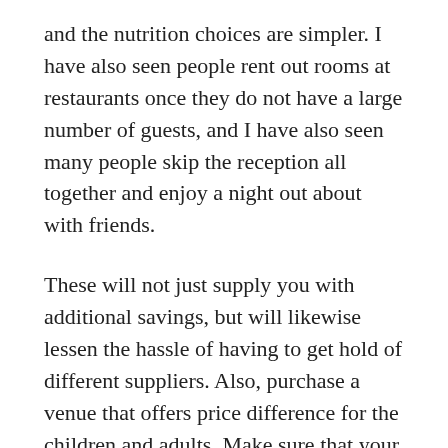and the nutrition choices are simpler. I have also seen people rent out rooms at restaurants once they do not have a large number of guests, and I have also seen many people skip the reception all together and enjoy a night out about with friends.
These will not just supply you with additional savings, but will likewise lessen the hassle of having to get hold of different suppliers. Also, purchase a venue that offers price difference for the children and adults. Make sure that your reception community centre can comfortably accommodate your guests. An ocular inspection of the venue before producing your booking is a needs to.